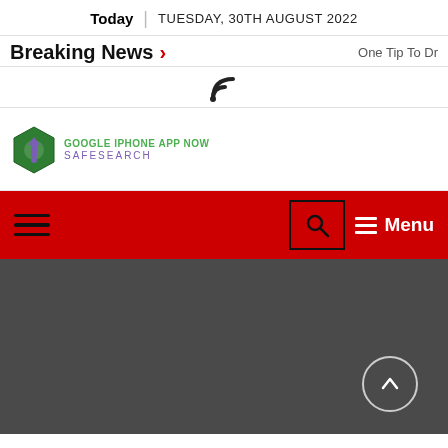Today | TUESDAY, 30TH AUGUST 2022
Breaking News > One Tip To Dr
[Figure (other): RSS feed icon]
[Figure (logo): Google iPhone App Now SafeSearch logo with green hexagon and purple text]
[Figure (screenshot): Red navigation bar with hamburger menu on left, search icon and Menu button on right]
[Figure (other): Dark gray section with a circular up-arrow button at bottom right]